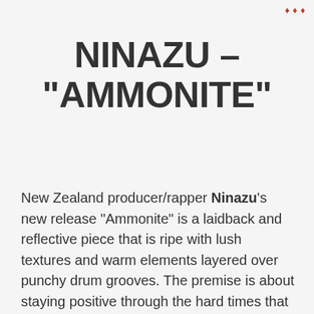...
NINAZU – "AMMONITE"
New Zealand producer/rapper Ninazu's new release "Ammonite" is a laidback and reflective piece that is ripe with lush textures and warm elements layered over punchy drum grooves. The premise is about staying positive through the hard times that often help make us better.